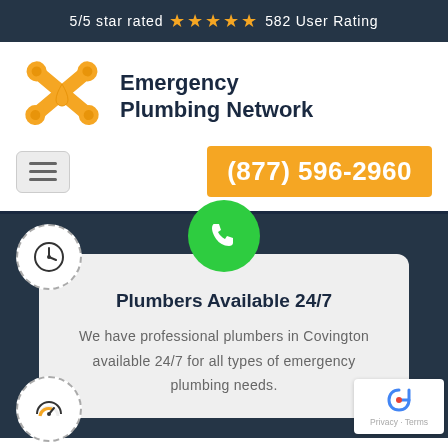5/5 star rated ★★★★★ 582 User Rating
[Figure (logo): Emergency Plumbing Network logo with crossed wrenches and water drop in orange/gold color]
Emergency Plumbing Network
(877) 596-2960
Plumbers Available 24/7
We have professional plumbers in Covington available 24/7 for all types of emergency plumbing needs.